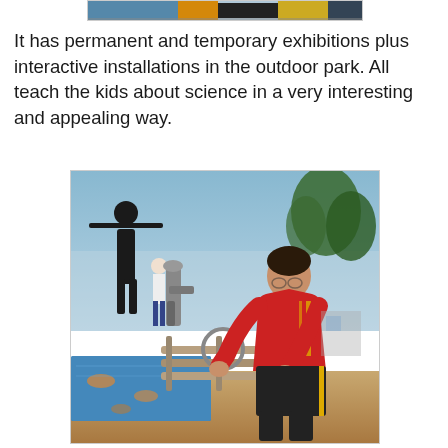[Figure (photo): Partial top image — colorful scene cropped at the top of the page, showing what appears to be people or characters in yellow and dark colors]
It has permanent and temporary exhibitions plus interactive installations in the outdoor park. All teach the kids about science in a very interesting and appealing way.
[Figure (photo): A boy wearing a red shirt and black shorts leans over an outdoor water/pipe installation at a science park. In the background are dark silhouette sculptures, trees, and other visitors.]